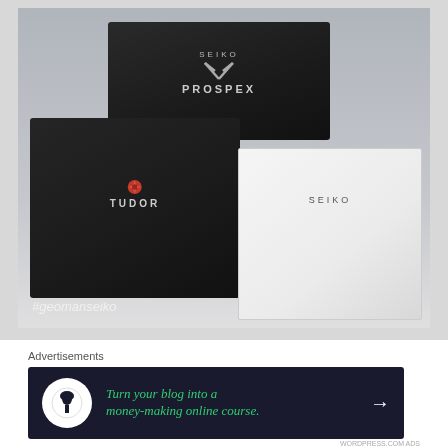[Figure (photo): Three watch boxes arranged on a white surface: a black Seiko Prospex box on top, a black Tudor box on the middle-left, and a white Seiko box on the middle-right. Watermark '#geomanseiko' visible in the bottom-left of the photo.]
Advertisements
[Figure (infographic): Dark navy advertisement banner with a white circle icon containing a person/tree silhouette, green italic text 'Turn your blog into a money-making online course.' and a white arrow pointing right.]